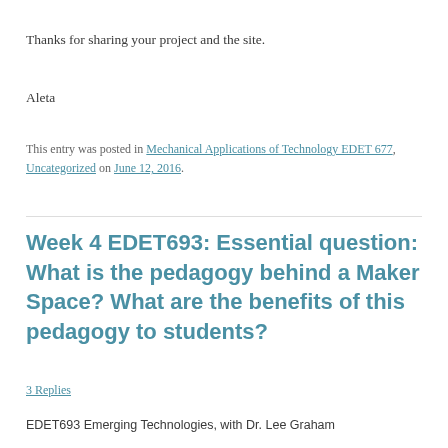Thanks for sharing your project and the site.
Aleta
This entry was posted in Mechanical Applications of Technology EDET 677, Uncategorized on June 12, 2016.
Week 4 EDET693: Essential question: What is the pedagogy behind a Maker Space? What are the benefits of this pedagogy to students?
3 Replies
EDET693 Emerging Technologies, with Dr. Lee Graham